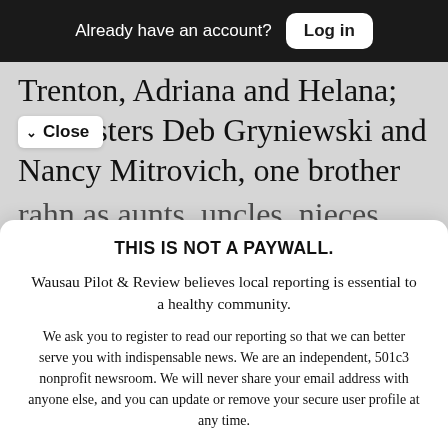Already have an account? Log in
Trenton, Adriana and Helana; two sisters Deb Gryniewski and Nancy Mitrovich, one brother [K]rahn as aunts, uncles, nieces,
✓ Close
THIS IS NOT A PAYWALL.
Wausau Pilot & Review believes local reporting is essential to a healthy community.
We ask you to register to read our reporting so that we can better serve you with indispensable news. We are an independent, 501c3 nonprofit newsroom. We will never share your email address with anyone else, and you can update or remove your secure user profile at any time.